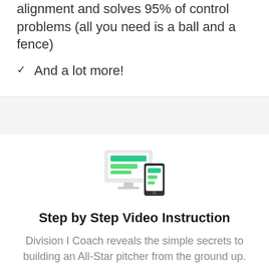alignment and solves 95% of control problems (all you need is a ball and a fence)
And a lot more!
[Figure (illustration): Icon of a desktop monitor displaying green content blocks alongside a smartphone with green blocks, representing multi-device video instruction]
Step by Step Video Instruction
Division I Coach reveals the simple secrets to building an All-Star pitcher from the ground up.